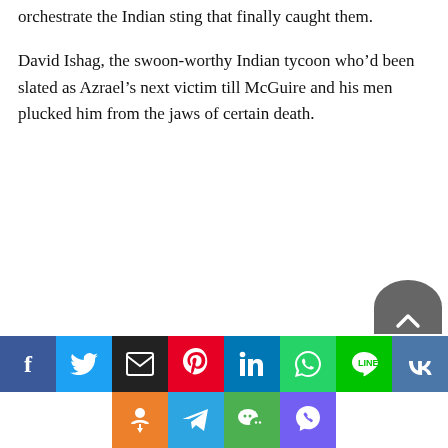orchestrate the Indian sting that finally caught them.
David Ishag, the swoon-worthy Indian tycoon who'd been slated as Azrael's next victim till McGuire and his men plucked him from the jaws of certain death.
[Figure (other): Social media share buttons row 1: Facebook, Twitter, Email, Pinterest, LinkedIn, WhatsApp, Line, VK; and row 2: Odnoklassniki, Telegram, WeChat, Viber]